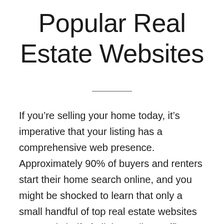Popular Real Estate Websites
If you’re selling your home today, it’s imperative that your listing has a comprehensive web presence. Approximately 90% of buyers and renters start their home search online, and you might be shocked to learn that only a small handful of top real estate websites get nearly half of all that online traffic.